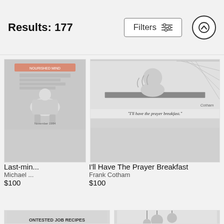Results: 177
[Figure (screenshot): Search results page showing cartoon artworks for sale. Header shows 'Results: 177' with a Filters button and an up arrow button. Two rows of product cards showing New Yorker-style cartoons. Top row: 'Last-min...' by Michael ... $100, and 'I'll Have The Prayer Breakfast' by Frank Cotham $100. Bottom row shows two more cartoon cards partially visible.]
Last-min...
Michael ...
$100
I'll Have The Prayer Breakfast
Frank Cotham
$100